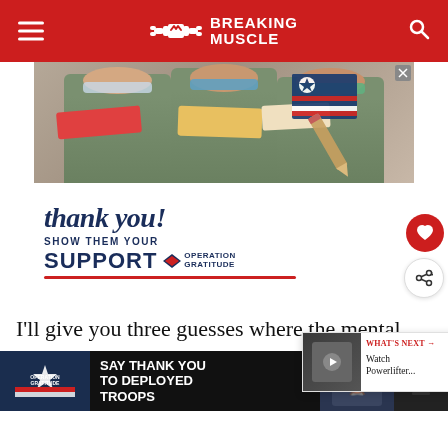BREAKING MUSCLE
[Figure (photo): Advertisement image showing three healthcare workers in scrubs and masks holding cards, with 'thank you! SHOW THEM YOUR SUPPORT OPERATION GRATITUDE' text overlay]
I'll give you three guesses where the mental strength to do this came from, but you going to need one.
[Figure (screenshot): What's Next overlay: Watch Powerlifter...]
[Figure (photo): Bottom banner ad: SAY THANK YOU TO DEPLOYED TROOPS - Operation Gratitude]